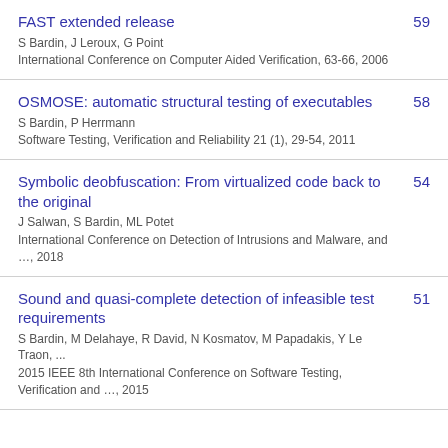FAST extended release | S Bardin, J Leroux, G Point | International Conference on Computer Aided Verification, 63-66, 2006 | 59
OSMOSE: automatic structural testing of executables | S Bardin, P Herrmann | Software Testing, Verification and Reliability 21 (1), 29-54, 2011 | 58
Symbolic deobfuscation: From virtualized code back to the original | J Salwan, S Bardin, ML Potet | International Conference on Detection of Intrusions and Malware, and ..., 2018 | 54
Sound and quasi-complete detection of infeasible test requirements | S Bardin, M Delahaye, R David, N Kosmatov, M Papadakis, Y Le Traon, ... | 2015 IEEE 8th International Conference on Software Testing, Verification and ..., 2015 | 51